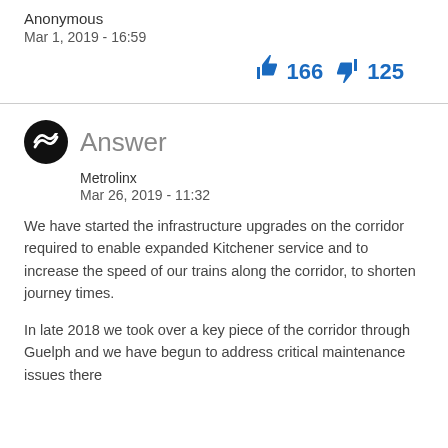Anonymous
Mar 1, 2019 - 16:59
👍 166  👎 125
Answer
Metrolinx
Mar 26, 2019 - 11:32
We have started the infrastructure upgrades on the corridor required to enable expanded Kitchener service and to increase the speed of our trains along the corridor, to shorten journey times.
In late 2018 we took over a key piece of the corridor through Guelph and we have begun to address critical maintenance issues there